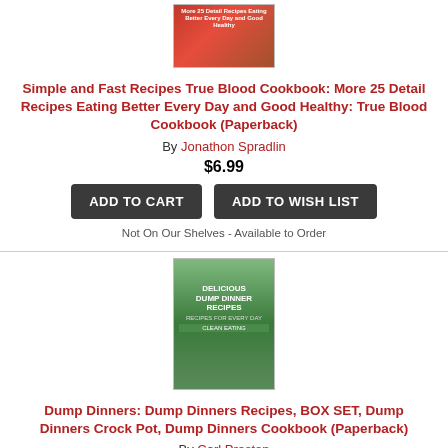[Figure (photo): Book cover for Simple and Fast Recipes True Blood Cookbook]
Simple and Fast Recipes True Blood Cookbook: More 25 Detail Recipes Eating Better Every Day and Good Healthy: True Blood Cookbook (Paperback)
By Jonathon Spradlin
$6.99
ADD TO CART | ADD TO WISH LIST
Not On Our Shelves - Available to Order
[Figure (photo): Book cover for Delicious Dump Dinner Recipes - Recipes for Every Day Clean Eating]
Dump Dinners: Dump Dinners Recipes, BOX SET, Dump Dinners Crock Pot, Dump Dinners Cookbook (Paperback)
By Carl Preston